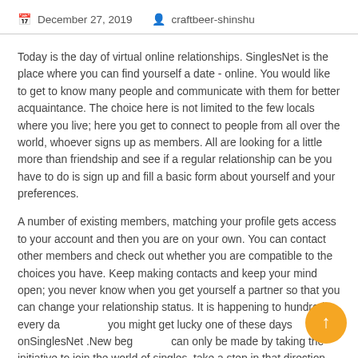December 27, 2019   craftbeer-shinshu
Today is the day of virtual online relationships. SinglesNet is the place where you can find yourself a date - online. You would like to get to know many people and communicate with them for better acquaintance. The choice here is not limited to the few locals where you live; here you get to connect to people from all over the world, whoever signs up as members. All are looking for a little more than friendship and see if a regular relationship can be you have to do is sign up and fill a basic form about yourself and your preferences.
A number of existing members, matching your profile gets access to your account and then you are on your own. You can contact other members and check out whether you are compatible to the choices you have. Keep making contacts and keep your mind open; you never know when you get yourself a partner so that you can change your relationship status. It is happening to hundreds every day, you might get lucky one of these days onSinglesNet .New beginnings can only be made by taking the initiative to join the world of singles, take a step in that direction.